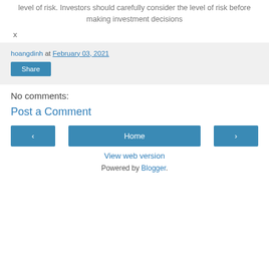level of risk. Investors should carefully consider the level of risk before making investment decisions
x
hoangdinh at February 03, 2021
Share
No comments:
Post a Comment
‹
Home
›
View web version
Powered by Blogger.